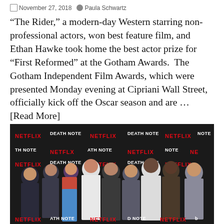November 27, 2018   Paula Schwartz
“The Rider,” a modern-day Western starring non-professional actors, won best feature film, and Ethan Hawke took home the best actor prize for “First Reformed” at the Gotham Awards.  The Gotham Independent Film Awards, which were presented Monday evening at Cipriani Wall Street, officially kick off the Oscar season and are … [Read More]
[Figure (photo): Group photo of cast and crew at a Netflix Death Note premiere event, standing in front of a branded step-and-repeat backdrop with Netflix and Death Note logos. The group includes approximately nine people dressed in formal/semi-formal attire.]